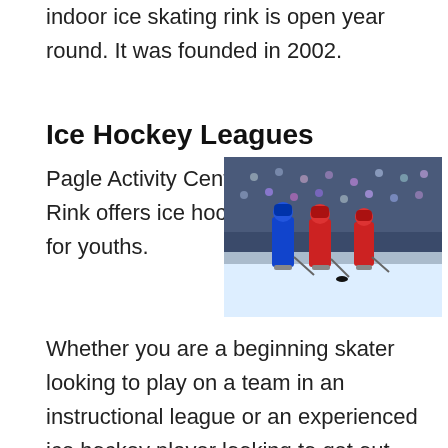indoor ice skating rink is open year round. It was founded in 2002.
Ice Hockey Leagues
Pagle Activity Center Ice Skating Rink offers ice hockey leagues for youths.
[Figure (photo): Ice hockey players in red and blue uniforms on ice during a game, with spectators in the background.]
Whether you are a beginning skater looking to play on a team in an instructional league or an experienced ice hockey player looking to get out and play with others of a similar caliber, Pagle Activity Center Ice Skating Rink is the place to play. Give them a call at (952) 470-4099 to inquire about their leagues now. The experienced group will help get you ready for your next